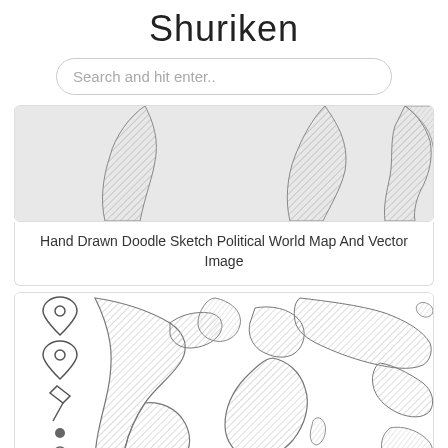Shuriken
Search and hit enter..
[Figure (illustration): Hand drawn doodle sketch political world map showing continents with hatching/crosshatch texture, partial view cropped at top]
Hand Drawn Doodle Sketch Political World Map And Vector Image
[Figure (illustration): Hand drawn rough sketch world map with doodle vector style, showing continents with sketch hatching and location pin icons on the left side]